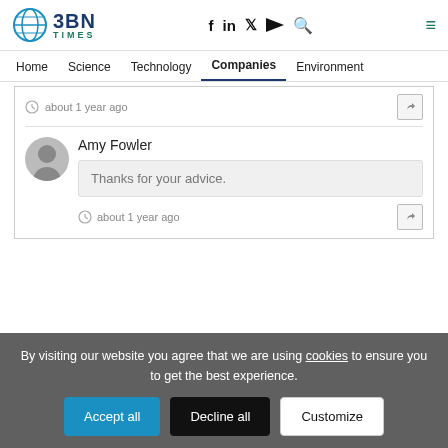BBN Times — navigation header with logo and social icons
Home  Science  Technology  Companies  Environment
about 1 year ago
Amy Fowler
Thanks for your advice.
about 1 year ago
By visiting our website you agree that we are using cookies to ensure you to get the best experience.
Accept all
Decline all
Customize